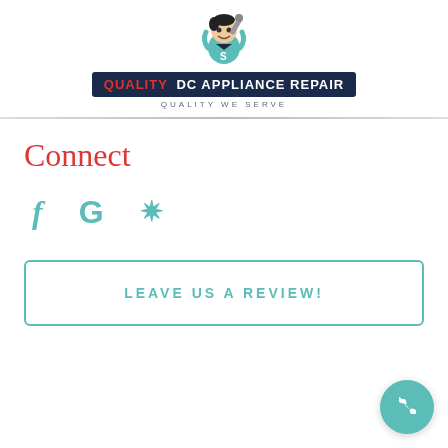[Figure (logo): Quality DC Appliance Repair logo with mascot character holding a wrench, dark navy banner with red 'QUALITY' and white 'DC APPLIANCE REPAIR', tagline 'QUALITY WE SERVE']
Connect
[Figure (infographic): Three social media icons: Facebook 'f', Google 'G', and Yelp burst/star icon, in teal color]
LEAVE US A REVIEW!
[Figure (illustration): Teal circular phone call button in bottom-right corner]